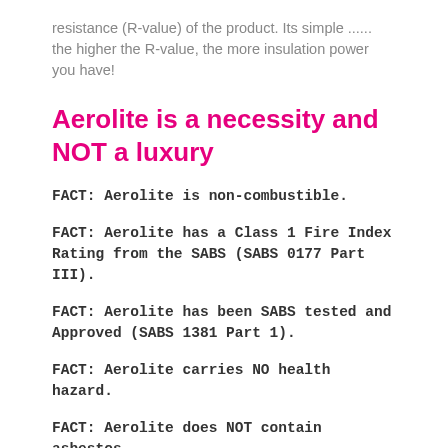resistance (R-value) of the product. Its simple ...... the higher the R-value, the more insulation power you have!
Aerolite is a necessity and NOT a luxury
FACT: Aerolite is non-combustible.
FACT: Aerolite has a Class 1 Fire Index Rating from the SABS (SABS 0177 Part III).
FACT: Aerolite has been SABS tested and Approved (SABS 1381 Part 1).
FACT: Aerolite carries NO health hazard.
FACT: Aerolite does NOT contain asbestos.
FACT: Aerolite is manufactured according to state of the